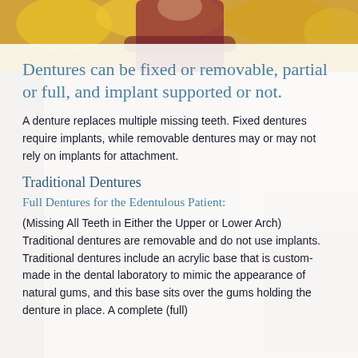[Figure (photo): Background photo of a person in autumn setting with yellow foliage, partially visible behind semi-transparent white overlay]
Dentures can be fixed or removable, partial or full, and implant supported or not.
A denture replaces multiple missing teeth. Fixed dentures require implants, while removable dentures may or may not rely on implants for attachment.
Traditional Dentures
Full Dentures for the Edentulous Patient:
(Missing All Teeth in Either the Upper or Lower Arch) Traditional dentures are removable and do not use implants. Traditional dentures include an acrylic base that is custom-made in the dental laboratory to mimic the appearance of natural gums, and this base sits over the gums holding the denture in place. A complete (full)